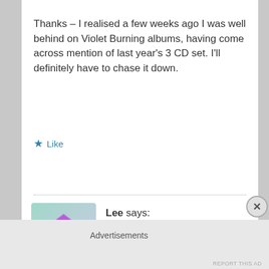Thanks – I realised a few weeks ago I was well behind on Violet Burning albums, having come across mention of last year's 3 CD set. I'll definitely have to chase it down.
★ Like
Reply
Lee says:
February 19, 2012 at 12:10 am
Advertisements